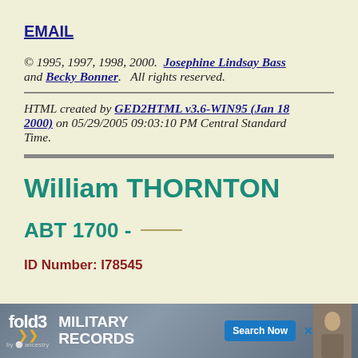EMAIL
© 1995, 1997, 1998, 2000.  Josephine Lindsay Bass and Becky Bonner.   All rights reserved.
HTML created by GED2HTML v3.6-WIN95 (Jan 18 2000) on 05/29/2005 09:03:10 PM Central Standard Time.
William THORNTON
ABT 1700 - ____
ID Number: I78545
[Figure (other): Fold3 by Ancestry military records advertisement banner with search now button and historical photo]